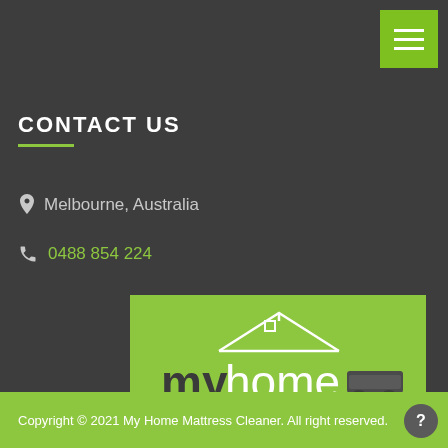[Figure (logo): Hamburger menu button (three white horizontal lines on green background) in top-right corner]
CONTACT US
Melbourne, Australia
0488 854 224
[Figure (logo): My Home Mattress Cleaner logo - white text on lime green background with house outline and mattress icon]
Copyright © 2021 My Home Mattress Cleaner. All right reserved.